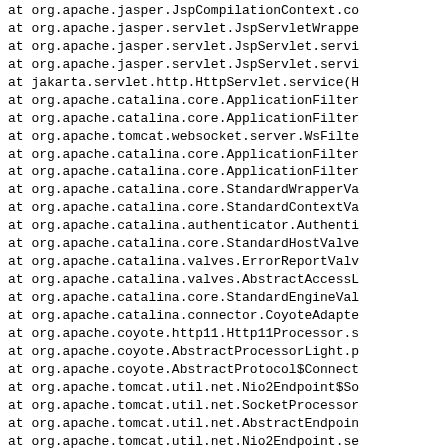at org.apache.jasper.JspCompilationContext.co
    at org.apache.jasper.servlet.JspServletWrappe
    at org.apache.jasper.servlet.JspServlet.servi
    at org.apache.jasper.servlet.JspServlet.servi
    at jakarta.servlet.http.HttpServlet.service(H
    at org.apache.catalina.core.ApplicationFilter
    at org.apache.catalina.core.ApplicationFilter
    at org.apache.tomcat.websocket.server.WsFilte
    at org.apache.catalina.core.ApplicationFilter
    at org.apache.catalina.core.ApplicationFilter
    at org.apache.catalina.core.StandardWrapperVa
    at org.apache.catalina.core.StandardContextVa
    at org.apache.catalina.authenticator.Authenti
    at org.apache.catalina.core.StandardHostValve
    at org.apache.catalina.valves.ErrorReportValv
    at org.apache.catalina.valves.AbstractAccessL
    at org.apache.catalina.core.StandardEngineVal
    at org.apache.catalina.connector.CoyoteAdapte
    at org.apache.coyote.http11.Http11Processor.s
    at org.apache.coyote.AbstractProcessorLight.p
    at org.apache.coyote.AbstractProtocol$Connect
    at org.apache.tomcat.util.net.Nio2Endpoint$So
    at org.apache.tomcat.util.net.SocketProcessor
    at org.apache.tomcat.util.net.AbstractEndpoin
    at org.apache.tomcat.util.net.Nio2Endpoint.se
    at org.apache.tomcat.util.net.Nio2Endpoint$Ni
    at org.apache.tomcat.util.net.Nio2Endpoint$Ni
    at java.base/sun.nio.ch.Invoker.invokeUncheck
    at java.base/sun.nio.ch.Invoker$2.run(Invoker
    at java.base/sun.nio.ch.AsynchronousChannelGr
    at org.apache.tomcat.util.threads.ThreadPoolE
    at org.apache.tomcat.util.threads.ThreadPoolE
    at org.apache.tomcat.util.threads.TaskThread$